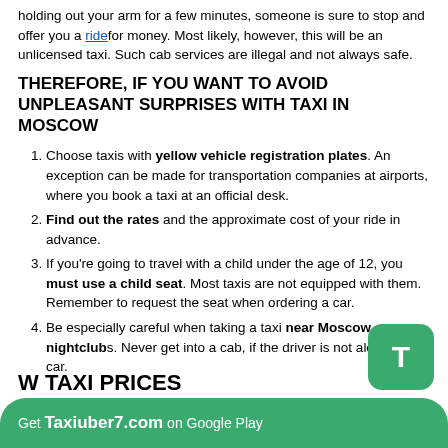holding out your arm for a few minutes, someone is sure to stop and offer you a ride for money. Most likely, however, this will be an unlicensed taxi. Such cab services are illegal and not always safe.
THEREFORE, IF YOU WANT TO AVOID UNPLEASANT SURPRISES WITH TAXI IN MOSCOW
Choose taxis with yellow vehicle registration plates. An exception can be made for transportation companies at airports, where you book a taxi at an official desk.
Find out the rates and the approximate cost of your ride in advance.
If you're going to travel with a child under the age of 12, you must use a child seat. Most taxis are not equipped with them. Remember to request the seat when ordering a car.
Be especially careful when taking a taxi near Moscow nightclubs. Never get into a cab, if the driver is not alone in the car.
Get Taxiuber7.com on Google Play
W TAXI PRICES